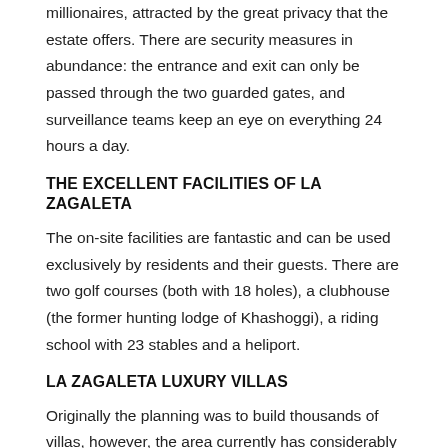Zagaleta became the new home of the world's richest millionaires, attracted by the great privacy that the estate offers. There are security measures in abundance: the entrance and exit can only be passed through the two guarded gates, and surveillance teams keep an eye on everything 24 hours a day.
THE EXCELLENT FACILITIES OF LA ZAGALETA
The on-site facilities are fantastic and can be used exclusively by residents and their guests. There are two golf courses (both with 18 holes), a clubhouse (the former hunting lodge of Khashoggi), a riding school with 23 stables and a heliport.
LA ZAGALETA LUXURY VILLAS
Originally the planning was to build thousands of villas, however, the area currently has considerably fewer villas